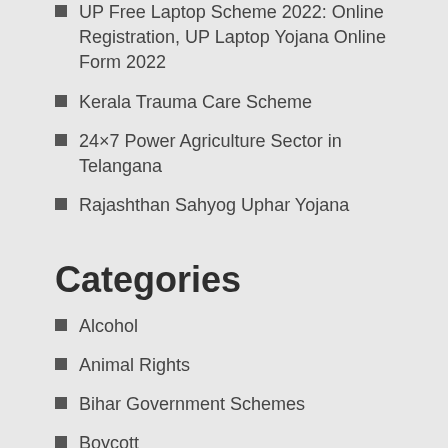UP Free Laptop Scheme 2022: Online Registration, UP Laptop Yojana Online Form 2022
Kerala Trauma Care Scheme
24×7 Power Agriculture Sector in Telangana
Rajashthan Sahyog Uphar Yojana
Categories
Alcohol
Animal Rights
Bihar Government Schemes
Boycott
Central Government Schemes
Coronavirus
Delhi